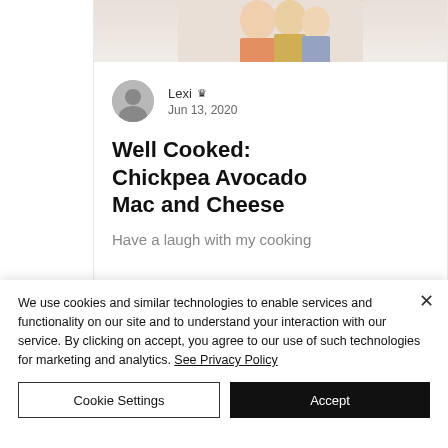[Figure (photo): Partial photo of two people embracing, cropped at top of card]
Lexi 👑
Jun 13, 2020
Well Cooked: Chickpea Avocado Mac and Cheese
Have a laugh with my cooking
We use cookies and similar technologies to enable services and functionality on our site and to understand your interaction with our service. By clicking on accept, you agree to our use of such technologies for marketing and analytics. See Privacy Policy
Cookie Settings
Accept